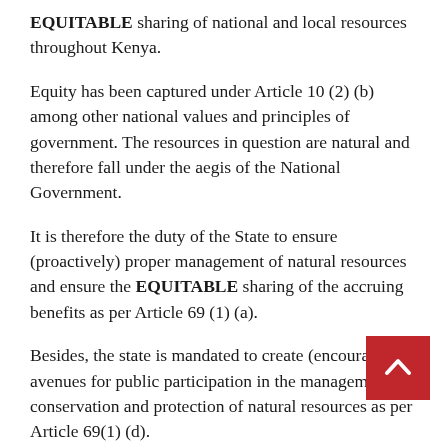EQUITABLE sharing of national and local resources throughout Kenya.
Equity has been captured under Article 10 (2) (b) among other national values and principles of government. The resources in question are natural and therefore fall under the aegis of the National Government.
It is therefore the duty of the State to ensure (proactively) proper management of natural resources and ensure the EQUITABLE sharing of the accruing benefits as per Article 69 (1) (a).
Besides, the state is mandated to create (encourage) avenues for public participation in the management, conservation and protection of natural resources as per Article 69(1) (d).
The relation between conservation and management...